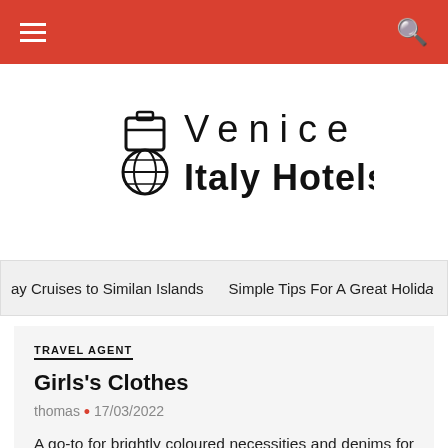Venice Italy Hotels — navigation bar with hamburger menu and search icon
[Figure (logo): Venice Italy Hotels logo with suitcase and globe icon, text reads 'Venice Italy Hotels']
ay Cruises to Similan Islands    Simple Tips For A Great Holida
TRAVEL AGENT
Girls's Clothes
thomas • 17/03/2022
A go-to for brightly coloured necessities and denims for all ages and sexes, Gap is a worldwide success